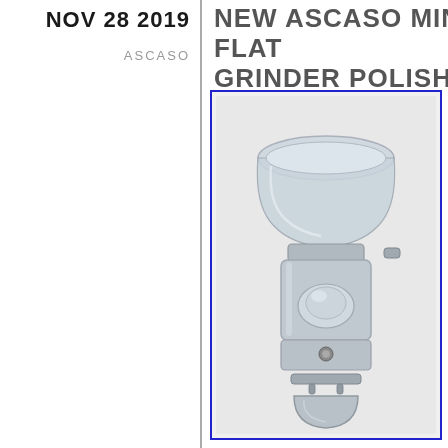NOV 28 2019
ASCASO
NEW ASCASO MINI FLAT GRINDER POLISHED ALUM
[Figure (photo): Ascaso Mini Flat Grinder in polished aluminum finish, showing the full grinder with a clear bean hopper on top, chrome/silver body, dosing mechanism, and grounds catch tray at the bottom, displayed within a blue-bordered frame on a light gray background.]